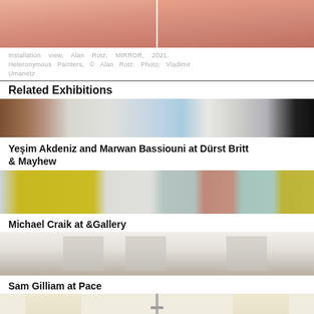[Figure (photo): Installation view showing salmon/pink painted panels, top portion of image]
Installation view, Alan Rotz, MIRROR, 2021, Heteronymous Painters, © Alan Rotz. Photo: Vladimir Umanetz
Related Exhibitions
[Figure (photo): Gallery installation view showing a wooden door, white walls with artwork including a grid piece and blue vertical stripe, and dark artwork on right]
Yeşim Akdeniz and Marwan Bassiouni at Dürst Britt & Mayhew
[Figure (photo): Gallery installation view showing colorful rectangular canvases on white walls: mustard yellow large canvas left, and smaller canvases in light blue, pink, and olive/yellow on right]
Michael Craik at &Gallery
[Figure (photo): Gallery installation view showing white textured/dotted artworks hung on white walls with wooden floor]
Sam Gilliam at Pace
[Figure (photo): Gallery installation view showing pale yellow vertical canvases flanking a metal scaffold structure, partially visible at bottom of page]